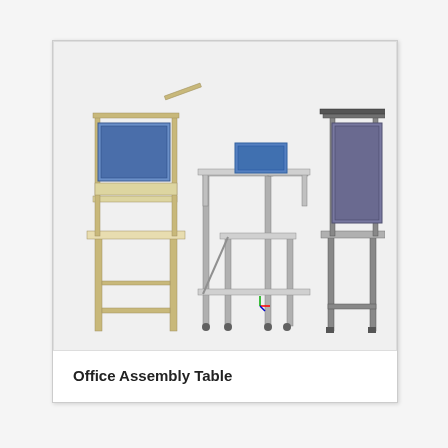[Figure (illustration): Three 3D CAD renderings of office assembly tables. Left: a beige/cream colored workbench with a hinged blue panel monitor mount on top and shelving. Center: a multi-level gray metal frame assembly table with blue box/tote on top shelf, shown in isometric perspective. Right: a gray metal frame assembly table with dark back panel and flat work surface.]
Office Assembly Table